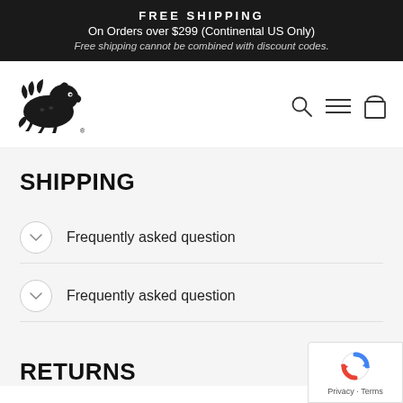FREE SHIPPING
On Orders over $299 (Continental US Only)
Free shipping cannot be combined with discount codes.
[Figure (logo): Gator/Griffin logo - black silhouette of a griffin/gator head facing right]
SHIPPING
Frequently asked question
Frequently asked question
RETURNS